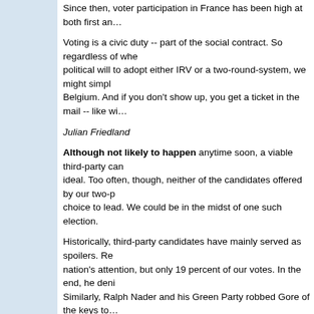Since then, voter participation in France has been high at both first and…
Voting is a civic duty -- part of the social contract. So regardless of whe… political will to adopt either IRV or a two-round-system, we might simpl… Belgium. And if you don't show up, you get a ticket in the mail -- like wi…
Julian Friedland
Although not likely to happen anytime soon, a viable third-party can… ideal. Too often, though, neither of the candidates offered by our two-p… choice to lead. We could be in the midst of one such election.
Historically, third-party candidates have mainly served as spoilers. Re… nation's attention, but only 19 percent of our votes. In the end, he deni… Similarly, Ralph Nader and his Green Party robbed Gore of the keys to…
When it comes to electing a president of the United States, the Elect… American electoral system. Yet, many Americans lack an understandin…
The number of electors depends on a state's population and that gove… of Representatives. There are 435 representatives, to which one adds… plus three for the District of Columbia. For this purpose, D.C. is consid…
The candidate who receives 270 electoral votes (269 plus 1) becomes…
Should Obama and McCain tie with 269 electoral votes each, it will be… choose the winner. Under these circumstances, each state delegation…
Forty-eight states have adopted a "winner-take-all" approach to nomin… vote.